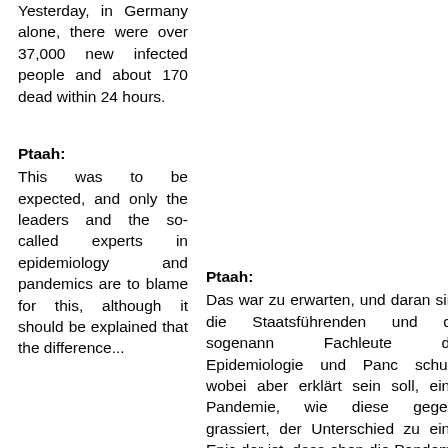Yesterday, in Germany alone, there were over 37,000 new infected people and about 170 dead within 24 hours.
Ptaah:
This was to be expected, and only the leaders and the so-called experts in epidemiology and pandemics are to blame for this, although it should be explained that the difference...
Ptaah:
Das war zu erwarten, und daran sind die Staatsführenden und die sogenannten Fachleute der Epidemiologie und Pandemien schuld, wobei aber erklärt sein soll, dass einer Pandemie, wie diese gegenwärtig grassiert, der Unterschied zu einer Epidemie der ist, dass eben die Pandemie eine Infektionskrankheit sich in vielen Staaten resp. Kontinenten ausbreitet und praktisch weltweit die Gesundheit und das Leben der Erdenmenschen gefährdet.